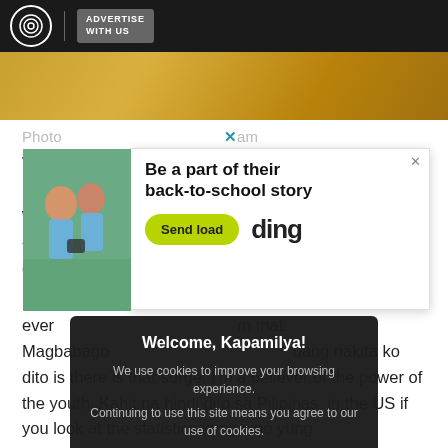ADVERTISE WITH US
[Figure (photo): Hero image strip showing a person in a yellow/gold outfit]
Photo from Instagram
[Figure (photo): Advertisement: Two schoolgirls looking at a phone. 'Be a part of their back-to-school story' - Send load - ding]
With the [election] more than two years away, Kapamilya host Robi Domingo said that no matter what [happens] in the country, there is alwa[ys someone who will give] direction.
"There's alw[ays] [k]abangan kasi naniniwi[wala ako na] have a happily ever [after, I believe in that to my] m that. Magbabago [na ang lahat. Isa sa pinaka] dang nakita ko dito is there is that surge. I'm a believer of the power of the youth. Kahit na hindi dito sa Pilipinas, in the US if you look at the statistics kung sino yung pinakamaraming
Welcome, Kapamilya!
We use cookies to improve your browsing experience.
Continuing to use this site means you agree to our use of cookies.
Tell me more!
I AGREE!